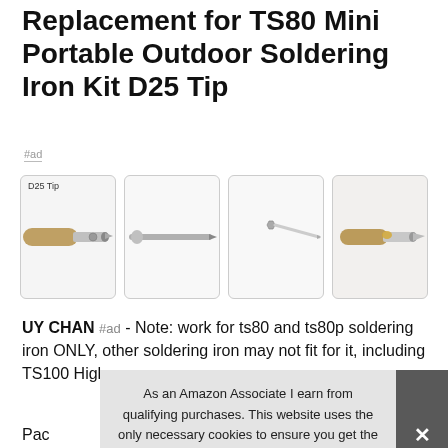Replacement for TS80 Mini Portable Outdoor Soldering Iron Kit D25 Tip
#ad
[Figure (photo): Four product photos of TS80 soldering iron D25 tip: first image labeled 'D25 Tip' showing tip in iron, second showing tip alone, third showing tip components, fourth showing tip attached to iron with solder.]
UY CHAN #ad - Note: work for ts80 and ts80p soldering iron ONLY, other soldering iron may not fit for it, including TS100 High
As an Amazon Associate I earn from qualifying purchases. This website uses the only necessary cookies to ensure you get the best experience on our website. More information
Pac